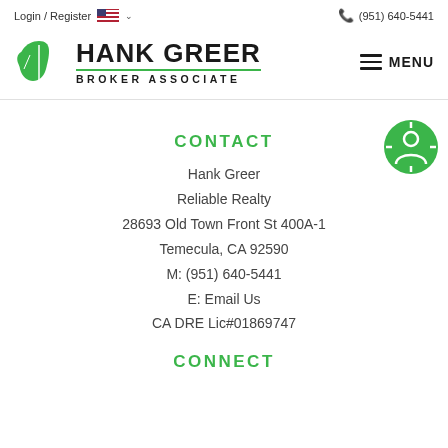Login / Register  🇺🇸 ∨  (951) 640-5441
[Figure (logo): Hank Greer Broker Associate logo with green leaf icon]
CONTACT
Hank Greer
Reliable Realty
28693 Old Town Front St 400A-1
Temecula, CA 92590
M: (951) 640-5441
E: Email Us
CA DRE Lic#01869747
CONNECT